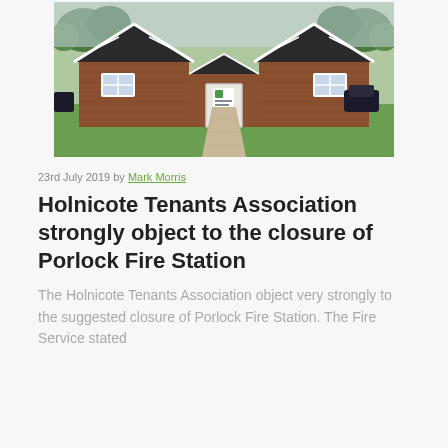[Figure (photo): A stone building with black and white Tudor-style gabled roof trim, a central entrance door with a small sign, two windows on either side, and a gravel path leading to the entrance through a green lawn. Trees visible in background.]
23rd July 2019 by Mark Morris
Holnicote Tenants Association strongly object to the closure of Porlock Fire Station
The Holnicote Tenants Association object very strongly to the suggested closure of Porlock Fire Station. The Fire Service stated